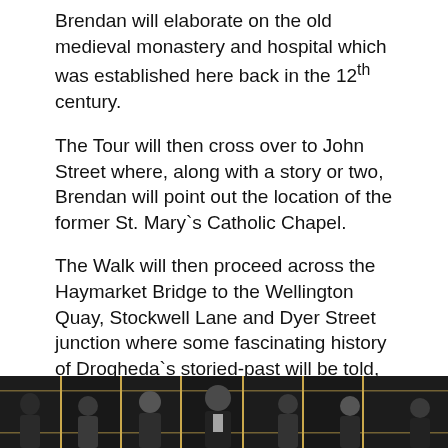Brendan will elaborate on the old medieval monastery and hospital which was established here back in the 12th century.
The Tour will then cross over to John Street where, along with a story or two, Brendan will point out the location of the former St. Mary`s Catholic Chapel.
The Walk will then proceed across the Haymarket Bridge to the Wellington Quay, Stockwell Lane and Dyer Street junction where some fascinating history of Drogheda`s storied-past will be told, before moving along to the Meat Market Lane area and on through Dyer Street; a street of great importance in times past.
Advertisement - continue reading below
[Figure (photo): A group of people (performers or musicians) posing in formal/theatrical attire against a dark Art Deco style backdrop with gold geometric patterns.]